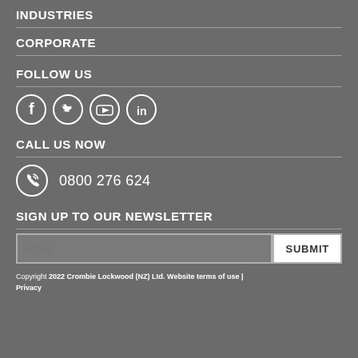INDUSTRIES
CORPORATE
FOLLOW US
[Figure (infographic): Four social media icons in circles: Facebook, Twitter, YouTube, LinkedIn]
CALL US NOW
[Figure (infographic): Phone icon in a circle next to the number 0800 276 624]
0800 276 624
SIGN UP TO OUR NEWSLETTER
Email  SUBMIT
Copyright 2022 Crombie Lockwood (NZ) Ltd. Website terms of use | Privacy